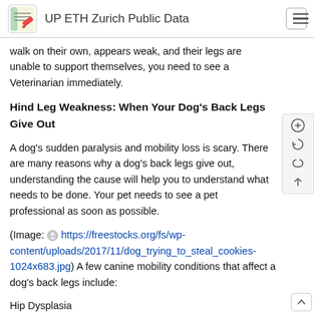UP ETH Zurich Public Data
walk on their own, appears weak, and their legs are unable to support themselves, you need to see a Veterinarian immediately.
Hind Leg Weakness: When Your Dog's Back Legs Give Out
A dog's sudden paralysis and mobility loss is scary. There are many reasons why a dog's back legs give out, understanding the cause will help you to understand what needs to be done. Your pet needs to see a pet professional as soon as possible.
(Image: https://freestocks.org/fs/wp-content/uploads/2017/11/dog_trying_to_steal_cookies-1024x683.jpg) A few canine mobility conditions that affect a dog's back legs include:
Hip Dysplasia
Knee injury or ACL tear
Traumatic injury